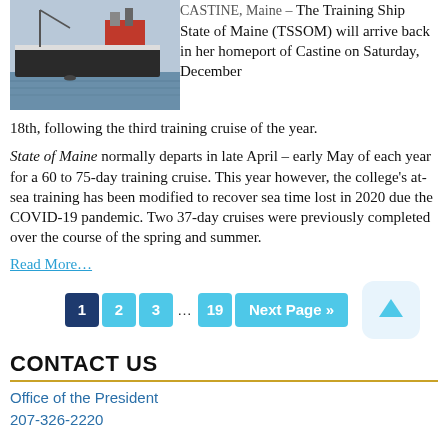[Figure (photo): A large ship (Training Ship State of Maine) on water, seen from the side, with a smaller vessel nearby in the background.]
CASTINE, Maine – The Training Ship State of Maine (TSSOM) will arrive back in her homeport of Castine on Saturday, December 18th, following the third training cruise of the year.
State of Maine normally departs in late April – early May of each year for a 60 to 75-day training cruise. This year however, the college's at-sea training has been modified to recover sea time lost in 2020 due the COVID-19 pandemic. Two 37-day cruises were previously completed over the course of the spring and summer.
Read More…
CONTACT US
Office of the President
207-326-2220